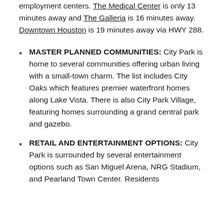employment centers. The Medical Center is only 13 minutes away and The Galleria is 16 minutes away. Downtown Houston is 19 minutes away via HWY 288.
MASTER PLANNED COMMUNITIES: City Park is home to several communities offering urban living with a small-town charm. The list includes City Oaks which features premier waterfront homes along Lake Vista. There is also City Park Village, featuring homes surrounding a grand central park and gazebo.
RETAIL AND ENTERTAINMENT OPTIONS: City Park is surrounded by several entertainment options such as San Miguel Arena, NRG Stadium, and Pearland Town Center. Residents